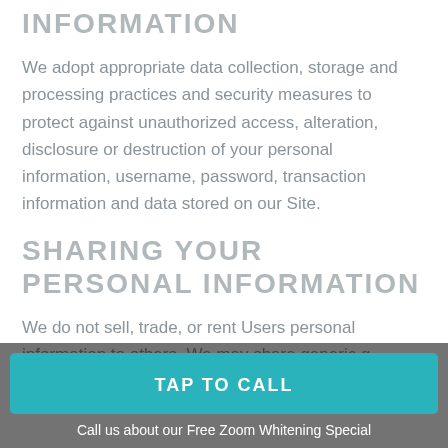INFORMATION
We adopt appropriate data collection, storage and processing practices and security measures to protect against unauthorized access, alteration, disclosure or destruction of your personal information, username, password, transaction information and data stored on our Site.
SHARING YOUR PERSONAL INFORMATION
We do not sell, trade, or rent Users personal information to others. We may share generic g...
TAP TO CALL
Call us about our Free Zoom Whitening Special